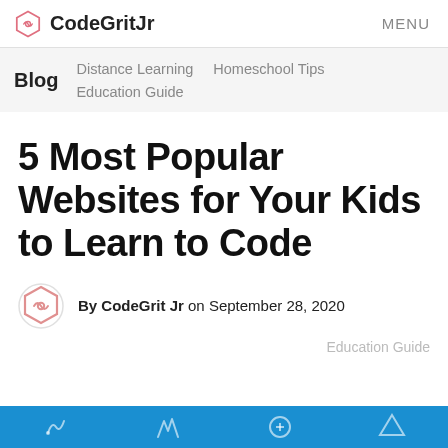CodeGritJr   MENU
Blog   Distance Learning   Homeschool Tips   Education Guide
5 Most Popular Websites for Your Kids to Learn to Code
By CodeGrit Jr on September 28, 2020
Education Guide
[Figure (illustration): Blue banner strip at the bottom of the page with white icons]